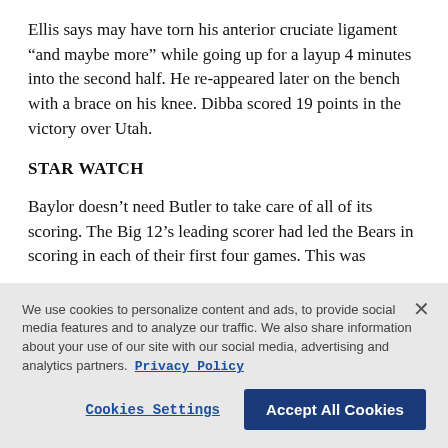Ellis says may have torn his anterior cruciate ligament “and maybe more” while going up for a layup 4 minutes into the second half. He re-appeared later on the bench with a brace on his knee. Dibba scored 19 points in the victory over Utah.
STAR WATCH
Baylor doesn’t need Butler to take care of all of its scoring. The Big 12’s leading scorer had led the Bears in scoring in each of their first four games. This was
We use cookies to personalize content and ads, to provide social media features and to analyze our traffic. We also share information about your use of our site with our social media, advertising and analytics partners. Privacy Policy
Cookies Settings
Accept All Cookies